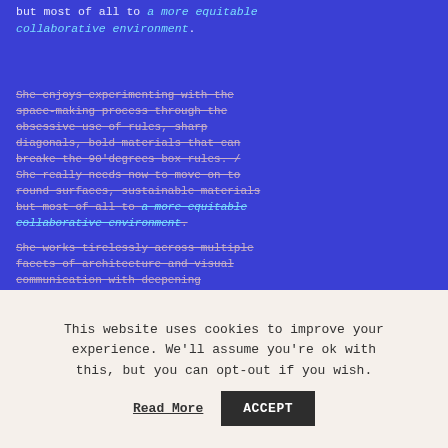but most of all to a more equitable collaborative environment.
She enjoys experimenting with the space-making process through the obsessive use of rules, sharp diagonals, bold materials that can breake the 90'degrees box rules. / She really needs now to move on to round surfaces, sustainable materials but most of all to a more equitable collaborative environment.
She works tirelessly across multiple facets of architecture and visual communication with deepening
This website uses cookies to improve your experience. We'll assume you're ok with this, but you can opt-out if you wish.
Read More
ACCEPT